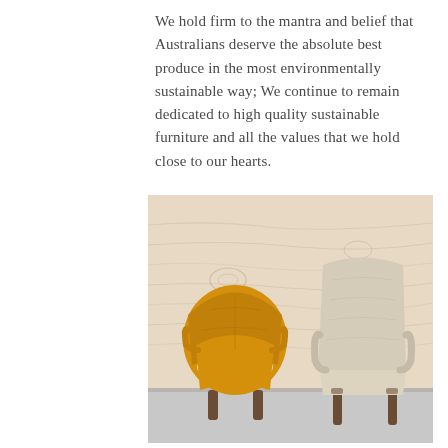We hold firm to the mantra and belief that Australians deserve the absolute best produce in the most environmentally sustainable way; We continue to remain dedicated to high quality sustainable furniture and all the values that we hold close to our hearts.
[Figure (photo): Two upholstered chairs against a plywood wall background. On the left, a rounded mustard-yellow armchair with a cream seat cushion and wooden legs. On the right, a cream/beige textured armchair with wooden legs.]